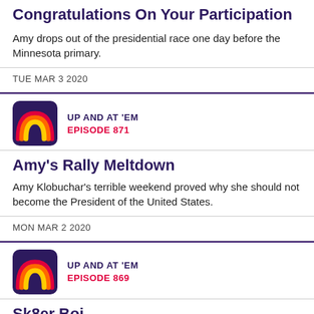Congratulations On Your Participation
Amy drops out of the presidential race one day before the Minnesota primary.
TUE MAR 3 2020
[Figure (logo): UP AND AT 'EM podcast logo — rainbow arcs on dark purple background]
UP AND AT 'EM
EPISODE 871
Amy's Rally Meltdown
Amy Klobuchar's terrible weekend proved why she should not become the President of the United States.
MON MAR 2 2020
[Figure (logo): UP AND AT 'EM podcast logo — rainbow arcs on dark purple background]
UP AND AT 'EM
EPISODE 869
Sk8er Boi
Dr John Spry explains just how socialist Bernie Sanders' Medicare for All bill truly is.